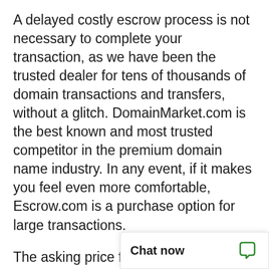A delayed costly escrow process is not necessary to complete your transaction, as we have been the trusted dealer for tens of thousands of domain transactions and transfers, without a glitch. DomainMarket.com is the best known and most trusted competitor in the premium domain name industry. In any event, if it makes you feel even more comfortable, Escrow.com is a purchase option for large transactions.
The asking price for unucr.com is based on a careful and professional appraisal by the world's leading experts on domain valuations, the inventors of ecommerce for premium domains. The price is explicitly certified to be fair by real experts, so the buyer can be confident in the great long-term value and investment oppo[rtunity represented by the] asset in question.
Chat now